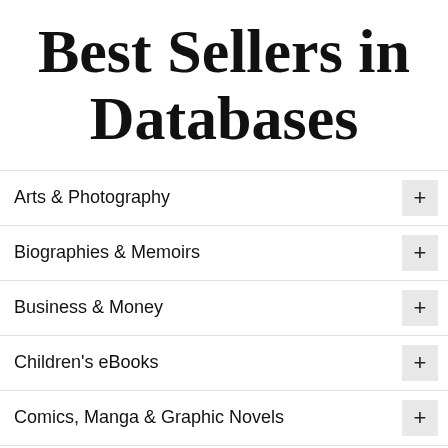Best Sellers in Databases
Arts & Photography
Biographies & Memoirs
Business & Money
Children's eBooks
Comics, Manga & Graphic Novels
Computers & Technology
Cookbooks, Food & Wine